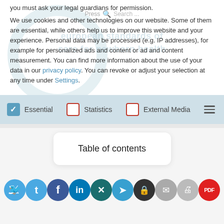you must ask your legal guardians for permission.

We use cookies and other technologies on our website. Some of them are essential, while others help us to improve this website and your experience. Personal data may be processed (e.g. IP addresses), for example for personalized ads and content or ad and content measurement. You can find more information about the use of your data in our privacy policy. You can revoke or adjust your selection at any time under Settings.
[Figure (screenshot): Cookie consent dialog with checkboxes for Essential (checked), Statistics (unchecked), External Media (unchecked), and a hamburger menu icon]
Table of contents
[Figure (infographic): Row of social sharing icons: Twitter (blue), Facebook (dark blue), LinkedIn (blue), Xing (teal), Telegram (blue), encrypted message (dark), email (grey), print (grey), PDF (red)]